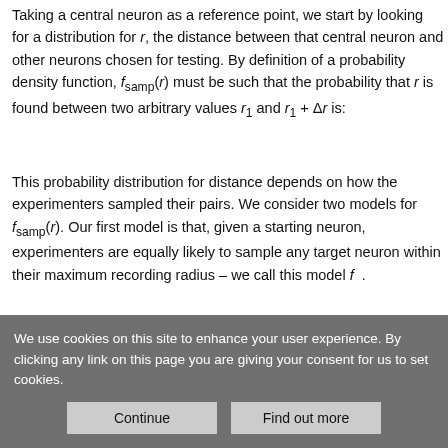Taking a central neuron as a reference point, we start by looking for a distribution for r, the distance between that central neuron and other neurons chosen for testing. By definition of a probability density function, f_samp(r) must be such that the probability that r is found between two arbitrary values r_1 and r_1 + Δr is:
This probability distribution for distance depends on how the experimenters sampled their pairs. We consider two models for f_samp(r). Our first model is that, given a starting neuron, experimenters are equally likely to sample any target neuron within their maximum recording radius – we call this model f...
We use cookies on this site to enhance your user experience. By clicking any link on this page you are giving your consent for us to set cookies.